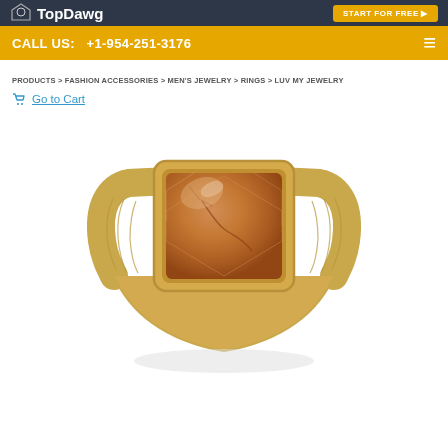TopDawg | START FOR FREE
CALL US: +1-954-251-3176
PRODUCTS > FASHION ACCESSORIES > MEN'S JEWELRY > RINGS > LUV MY JEWELRY
Go to Cart
[Figure (photo): A gold men's signet ring with a rectangular brownish-red jasper or agate stone, featuring decorative wave/wood-grain engraving on the band sides, photographed on a white background.]